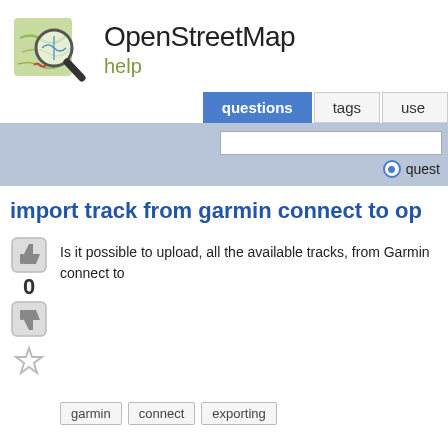[Figure (logo): OpenStreetMap logo: magnifying glass over a green map]
OpenStreetMap help
import track from garmin connect to op
Is it possible to upload, all the available tracks, from Garmin connect to
garmin
connect
exporting